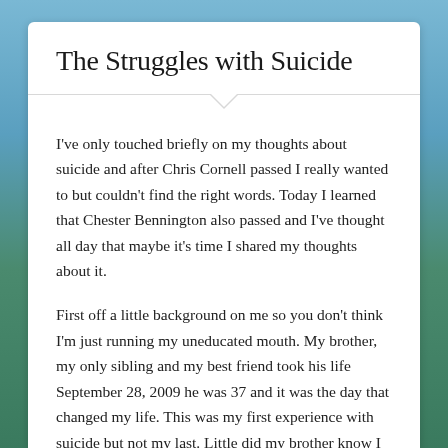The Struggles with Suicide
I've only touched briefly on my thoughts about suicide and after Chris Cornell passed I really wanted to but couldn't find the right words. Today I learned that Chester Bennington also passed and I've thought all day that maybe it's time I shared my thoughts about it.
First off a little background on me so you don't think I'm just running my uneducated mouth. My brother, my only sibling and my best friend took his life September 28, 2009 he was 37 and it was the day that changed my life. This was my first experience with suicide but not my last. Little did my brother know I had spent years and years struggling